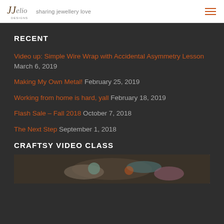JJ Designs — sharing jewellery love
RECENT
Video up: Simple Wire Wrap with Accidental Asymmetry Lesson  March 6, 2019
Making My Own Metal!  February 25, 2019
Working from home is hard, yall  February 18, 2019
Flash Sale – Fall 2018  October 7, 2018
The Next Step  September 1, 2018
CRAFTSY VIDEO CLASS
[Figure (photo): Craftsy video class thumbnail showing jewellery piece]